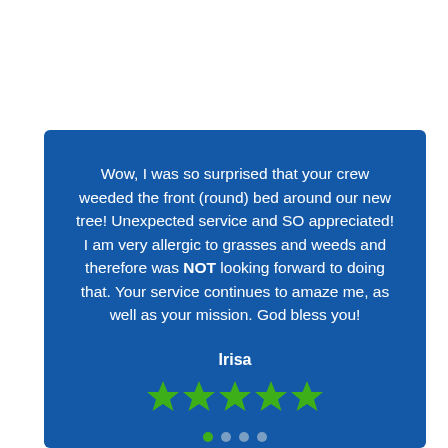Wow, I was so surprised that your crew weeded the front (round) bed around our new tree! Unexpected service and SO appreciated! I am very allergic to grasses and weeds and therefore was NOT looking forward to doing that. Your service continues to amaze me, as well as your mission. God bless you!
Irisa
[Figure (other): Five green star rating icons]